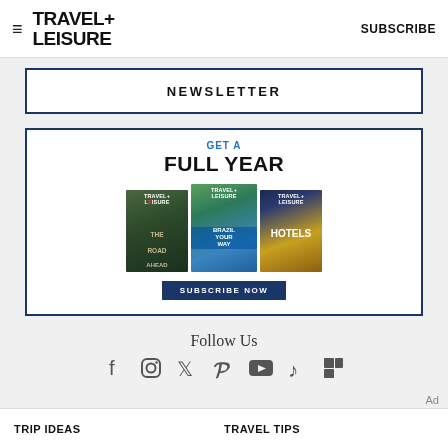TRAVEL+ LEISURE   SUBSCRIBE
NEWSLETTER
[Figure (illustration): Travel+Leisure magazine subscription ad with three magazine covers and Subscribe Now button. Text: GET A FULL YEAR]
Follow Us
[Figure (infographic): Social media icons: Facebook, Instagram, Twitter, Pinterest, YouTube, TikTok, Flipboard]
TRIP IDEAS   TRAVEL TIPS